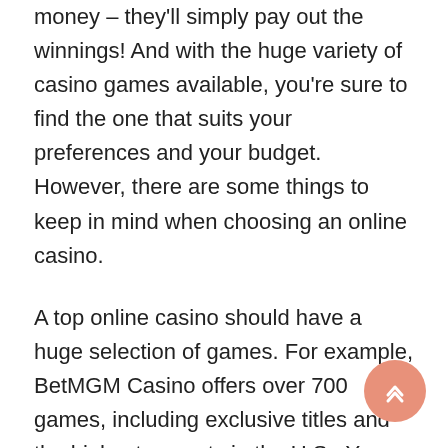money – they'll simply pay out the winnings! And with the huge variety of casino games available, you're sure to find the one that suits your preferences and your budget. However, there are some things to keep in mind when choosing an online casino.
A top online casino should have a huge selection of games. For example, BetMGM Casino offers over 700 games, including exclusive titles and the highest payouts in the U.S.. You can also play blackjack, baccarat, and poker at BetMGM. The casino also offers video poker and a thriving live dealer section. And if you enjoy blackjack games, you can choose from a wide variety of blackjack variations and enjoy the action!
Before signing up for an online casino, it's a good idea to read reviews of different sites to avoid scams. Many online